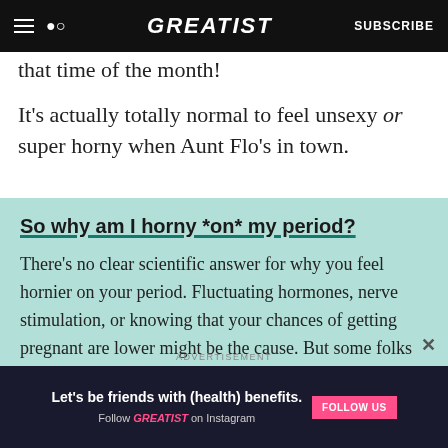GREATIST | SUBSCRIBE
that time of the month!
It's actually totally normal to feel unsexy or super horny when Aunt Flo's in town.
So why am I horny *on* my period?
There's no clear scientific answer for why you feel hornier on your period. Fluctuating hormones, nerve stimulation, or knowing that your chances of getting pregnant are lower might be the cause. But some folks may not
ADVERTISEMENT
Let's be friends with (health) benefits. Follow GREATIST on Instagram  FOLLOW US